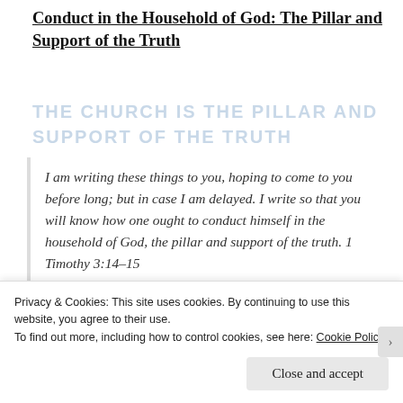Conduct in the Household of God: The Pillar and Support of the Truth
THE CHURCH IS THE PILLAR AND SUPPORT OF THE TRUTH
I am writing these things to you, hoping to come to you before long; but in case I am delayed. I write so that you will know how one ought to conduct himself in the household of God, the pillar and support of the truth. 1 Timothy 3:14–15
Two
Privacy & Cookies: This site uses cookies. By continuing to use this website, you agree to their use.
To find out more, including how to control cookies, see here: Cookie Policy
Close and accept